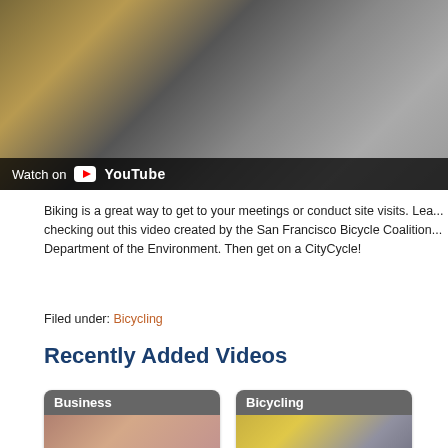[Figure (screenshot): YouTube video thumbnail showing people with bicycles on a city street. Bottom bar shows 'Watch on YouTube' with YouTube logo.]
Biking is a great way to get to your meetings or conduct site visits. Learn more by checking out this video created by the San Francisco Bicycle Coalition and the Department of the Environment. Then get on a CityCycle!
Filed under: Bicycling
Recently Added Videos
[Figure (screenshot): Card labeled 'Business' with a photo of a woman]
[Figure (screenshot): Card labeled 'Bicycling' with a photo of bicycles on a street]